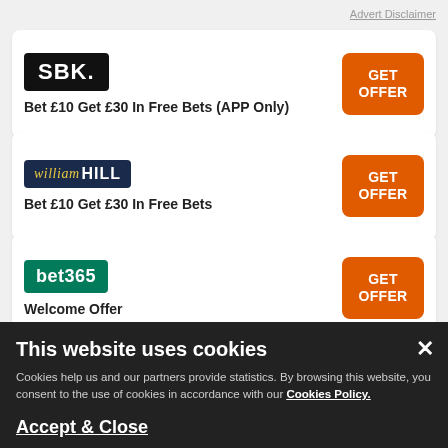Advert Disclaimer
[Figure (logo): SBK logo - black background with white text 'SBK.']
Bet £10 Get £30 In Free Bets (APP Only)
[Figure (logo): William Hill logo - dark navy background with gold italic 'william' and white bold 'HILL']
Bet £10 Get £30 In Free Bets
[Figure (logo): bet365 logo - green background with white bold text 'bet365']
Welcome Offer
This website uses cookies
Cookies help us and our partners provide statistics. By browsing this website, you consent to the use of cookies in accordance with our Cookies Policy.
Accept & Close